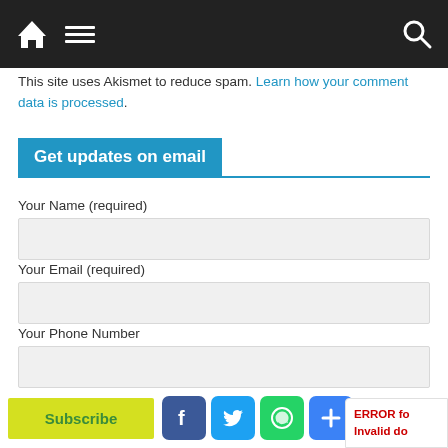Navigation bar with home, menu, and search icons
This site uses Akismet to reduce spam. Learn how your comment data is processed.
Get updates on email
Your Name (required)
Your Email (required)
Your Phone Number
Your City (required)
Subscribe
ERROR fo
Invalid do